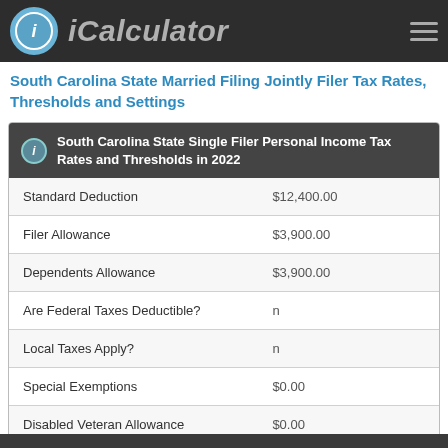iCalculator
South Carolina State Married Filing Jointly Filer Tax Rates, Thresholds and Settings
|  | South Carolina State Single Filer Personal Income Tax Rates and Thresholds in 2022 |  |
| --- | --- | --- |
| Standard Deduction | $12,400.00 |
| Filer Allowance | $3,900.00 |
| Dependents Allowance | $3,900.00 |
| Are Federal Taxes Deductible? | n |
| Local Taxes Apply? | n |
| Special Exemptions | $0.00 |
| Disabled Veteran Allowance | $0.00 |